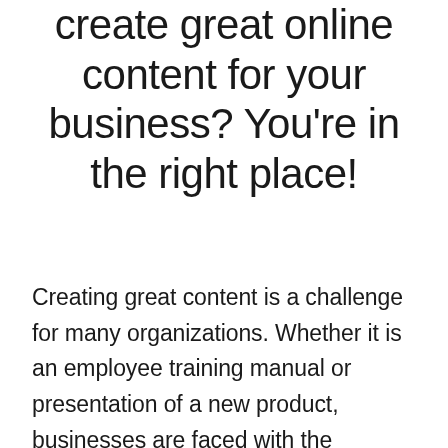create great online content for your business? You're in the right place!
Creating great content is a challenge for many organizations. Whether it is an employee training manual or presentation of a new product, businesses are faced with the inevitable challenge to create engaging and enticing online content. It's not that easy. Just putting a camera and recording is not enough. We can help you change that...